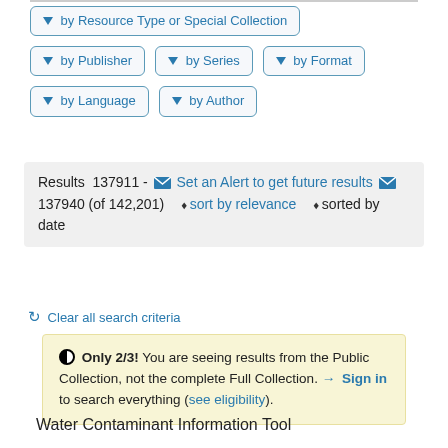▼ by Resource Type or Special Collection
▼ by Publisher
▼ by Series
▼ by Format
▼ by Language
▼ by Author
Results 137911 - ✉ Set an Alert to get future results ✉ 137940 (of 142,201) ⬧sort by relevance ⬧sorted by date
↺ Clear all search criteria
◑ Only 2/3! You are seeing results from the Public Collection, not the complete Full Collection. ➡ Sign in to search everything (see eligibility).
Water Contaminant Information Tool